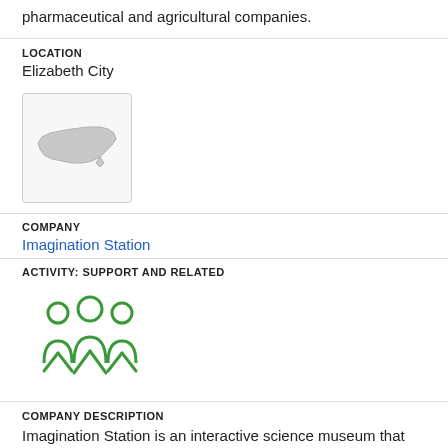pharmaceutical and agricultural companies.
LOCATION
Elizabeth City
[Figure (map): Map outline of North Carolina state shown as a grey silhouette inside a white rounded-corner box with light border.]
COMPANY
Imagination Station
ACTIVITY: SUPPORT AND RELATED
[Figure (illustration): Icon of three people standing together, outlined in green.]
COMPANY DESCRIPTION
Imagination Station is an interactive science museum that tailors their programs to meet many of the K-8 objectives of the North